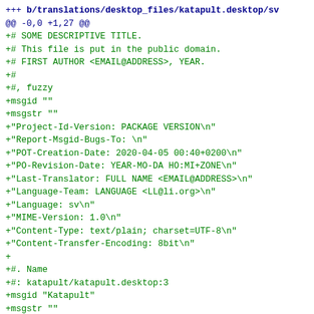+++ b/translations/desktop_files/katapult.desktop/sv
@@ -0,0 +1,27 @@
+# SOME DESCRIPTIVE TITLE.
+# This file is put in the public domain.
+# FIRST AUTHOR <EMAIL@ADDRESS>, YEAR.
+#
+#, fuzzy
+msgid ""
+msgstr ""
+"Project-Id-Version: PACKAGE VERSION\n"
+"Report-Msgid-Bugs-To: \n"
+"POT-Creation-Date: 2020-04-05 00:40+0200\n"
+"PO-Revision-Date: YEAR-MO-DA HO:MI+ZONE\n"
+"Last-Translator: FULL NAME <EMAIL@ADDRESS>\n"
+"Language-Team: LANGUAGE <LL@li.org>\n"
+"Language: sv\n"
+"MIME-Version: 1.0\n"
+"Content-Type: text/plain; charset=UTF-8\n"
+"Content-Transfer-Encoding: 8bit\n"
+
+#. Name
+#: katapult/katapult.desktop:3
+msgid "Katapult"
+msgstr ""
+
+#. GenericName
+#: katapult/katapult.desktop:6
+msgid "TDE Launcher"
+msgstr "TDE-startverktyg"